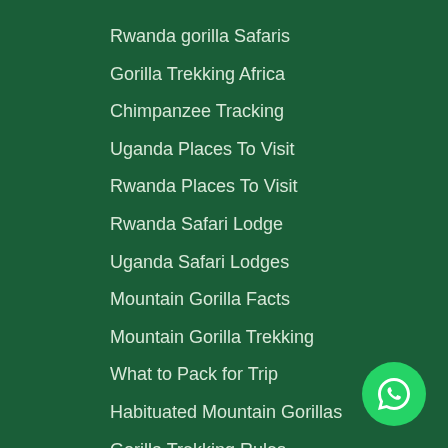Rwanda gorilla Safaris
Gorilla Trekking Africa
Chimpanzee Tracking
Uganda Places To Visit
Rwanda Places To Visit
Rwanda Safari Lodge
Uganda Safari Lodges
Mountain Gorilla Facts
Mountain Gorilla Trekking
What to Pack for Trip
Habituated Mountain Gorillas
Gorilla Trekking Rules
[Figure (logo): WhatsApp button icon — green circle with white phone handset]